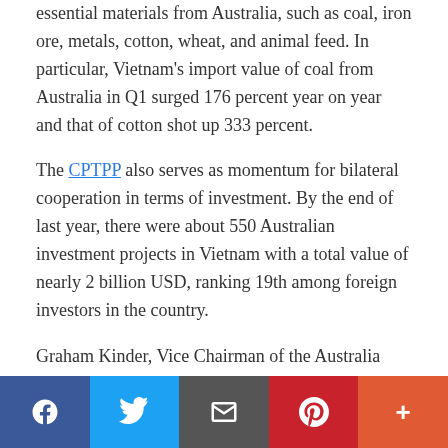essential materials from Australia, such as coal, iron ore, metals, cotton, wheat, and animal feed. In particular, Vietnam’s import value of coal from Australia in Q1 surged 176 percent year on year and that of cotton shot up 333 percent.
The CPTPP also serves as momentum for bilateral cooperation in terms of investment. By the end of last year, there were about 550 Australian investment projects in Vietnam with a total value of nearly 2 billion USD, ranking 19th among foreign investors in the country.
Graham Kinder, Vice Chairman of the Australia
[Figure (other): Social media sharing bar with buttons for Facebook, Twitter, Email, Pinterest, and More]